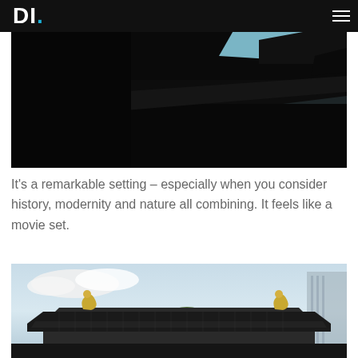DI.
[Figure (photo): Dark silhouette of a traditional Asian temple/pagoda rooftop against a blue sky, with modern buildings visible in the background. Upper portion of image is very dark/black.]
It's a remarkable setting – especially when you consider history, modernity and nature all combining. It feels like a movie set.
[Figure (photo): Traditional Asian temple/castle rooftop with golden ornamental details against a blue sky with clouds. Green trees visible behind the structure. Modern buildings visible in the background on the right.]